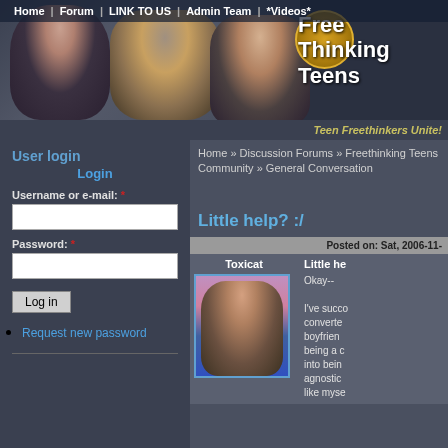[Figure (screenshot): Website banner with photos of teenagers and a police badge, showing site name 'Free Thinking Teens' and tagline 'Teen Freethinkers Unite!']
Home | Forum | LINK TO US | Admin Team | *Videos*
Free Thinking Teens
Teen Freethinkers Unite!
User login
Login
Username or e-mail: *
Password: *
Log in
Request new password
Home » Discussion Forums » Freethinking Teens Community » General Conversation
Little help? :/
Posted on: Sat, 2006-11-
Toxicat
[Figure (photo): Avatar photo of a teenage girl against pink background]
Little he
Okay--

I've succeeded in converting my boyfriend from being a c into being agnostic, like myse